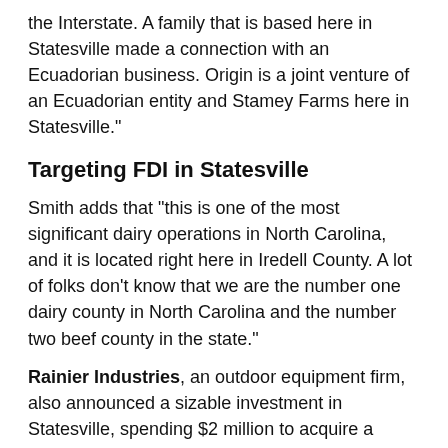the Interstate. A family that is based here in Statesville made a connection with an Ecuadorian business. Origin is a joint venture of an Ecuadorian entity and Stamey Farms here in Statesville."
Targeting FDI in Statesville
Smith adds that "this is one of the most significant dairy operations in North Carolina, and it is located right here in Iredell County. A lot of folks don't know that we are the number one dairy county in North Carolina and the number two beef county in the state."
Rainier Industries, an outdoor equipment firm, also announced a sizable investment in Statesville, spending $2 million to acquire a 220,000-sq.-ft. (20,438-sq.-m.) facility to open an awning and screen manufacturing plant on a 32-acre (13-hectare) campus. The project creates 25 jobs.
"This facility will be state of the art — capable of producing all our existing and future product lines," said Scott Campbell, president of Seattle-based Rainier, a company that was founded in 1896 to provide tents and other supplies